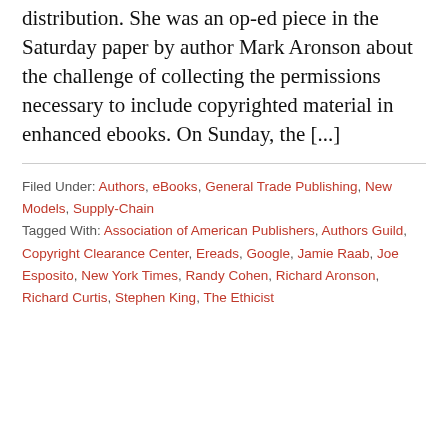distribution. She was an op-ed piece in the Saturday paper by author Mark Aronson about the challenge of collecting the permissions necessary to include copyrighted material in enhanced ebooks. On Sunday, the [...]
Filed Under: Authors, eBooks, General Trade Publishing, New Models, Supply-Chain
Tagged With: Association of American Publishers, Authors Guild, Copyright Clearance Center, Ereads, Google, Jamie Raab, Joe Esposito, New York Times, Randy Cohen, Richard Aronson, Richard Curtis, Stephen King, The Ethicist